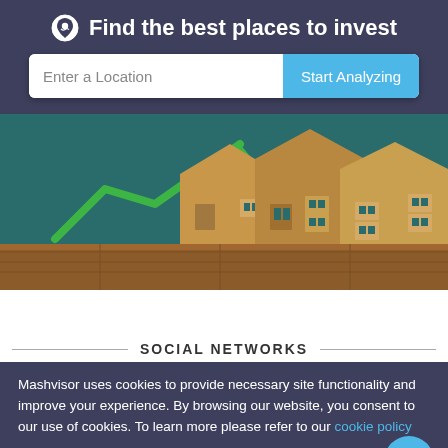Find the best places to invest
[Figure (screenshot): Search bar with 'Enter a Location' input and 'Start Analyzing' button]
[Figure (photo): Wooden house models on a table with a green upward arrow, representing real estate investment growth]
SOCIAL NETWORKS
Mashvisor uses cookies to provide necessary site functionality and improve your experience. By browsing our website, you consent to our use of cookies. To learn more please refer to our cookie policy
Accept
Reject